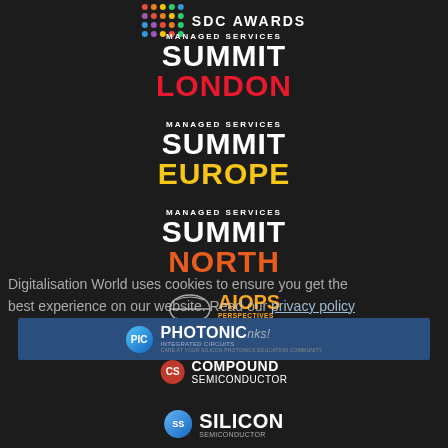[Figure (logo): SDC Awards logo with colorful dot grid and text]
[Figure (logo): Managed Services Summit London logo - white and red text on dark background]
[Figure (logo): Managed Services Summit Europe logo - white and yellow text on dark background]
[Figure (logo): Managed Services Summit North logo - white and orange text on dark background]
[Figure (logo): AIOps Perspectives Online Summit logo with orange text and bird/hands graphic]
Digitalisation World uses cookies to ensure you get the best experience on our website. Read our privacy policy
[Figure (logo): DCG Change Management logo]
[Figure (logo): Compound Semiconductor logo with red CS badge]
[Figure (logo): Photonic Integrated Circuits (PIC) logo on blue background strip]
[Figure (logo): Silicon Semiconductor logo with blue SS badge]